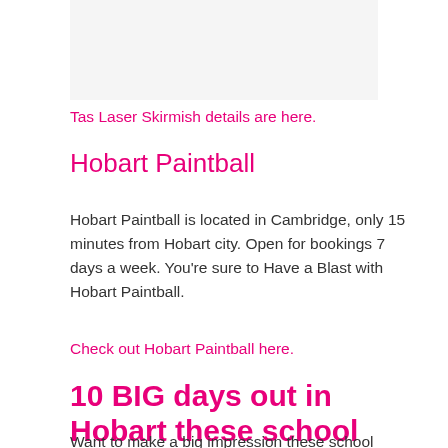[Figure (other): Gray placeholder image block at the top of the page]
Tas Laser Skirmish details are here.
Hobart Paintball
Hobart Paintball is located in Cambridge, only 15 minutes from Hobart city. Open for bookings 7 days a week. You're sure to Have a Blast with Hobart Paintball.
Check out Hobart Paintball here.
10 BIG days out in Hobart these school holidays
Want to make a big impression these school